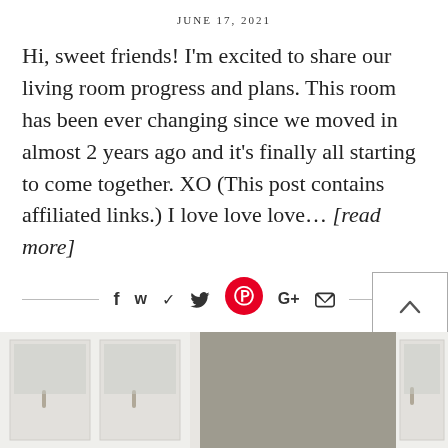JUNE 17, 2021
Hi, sweet friends! I'm excited to share our living room progress and plans. This room has been ever changing since we moved in almost 2 years ago and it's finally all starting to come together. XO (This post contains affiliated links.) I love love love… [read more]
[Figure (infographic): Social sharing bar with horizontal lines, Facebook, Twitter, Pinterest (red circle), Google+, and email icons]
[Figure (photo): Interior room photo showing white built-in cabinetry with handles and a large gray/beige rectangular panel or cabinet in the center]